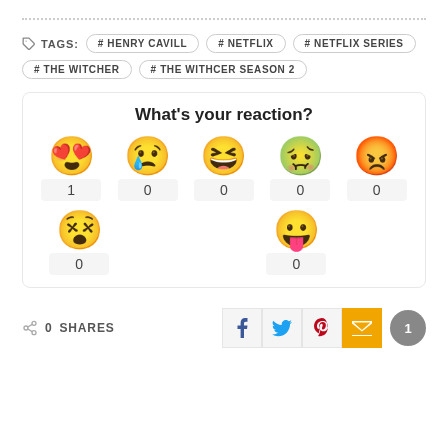# HENRY CAVILL  # NETFLIX  # NETFLIX SERIES  # THE WITCHER  # THE WITHCER SEASON 2
[Figure (infographic): Reaction widget with emoji faces and counts: love (1), sad (0), laugh (0), drunk/sick (0), angry (0), dead (0), tongue (0). Title: What's your reaction?]
0 SHARES
Facebook, Twitter, Pinterest, Email social share buttons